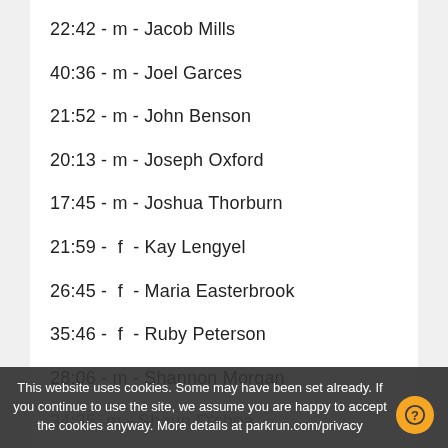22:42 - m - Jacob Mills
40:36 - m - Joel Garces
21:52 - m - John Benson
20:13 - m - Joseph Oxford
17:45 - m - Joshua Thorburn
21:59 -  f  - Kay Lengyel
26:45 -  f  - Maria Easterbrook
35:46 -  f  - Ruby Peterson
28:06 - m - Shannon Morgan
34:35  m - Shaun O'shea
This website uses cookies. Some may have been set already. If you continue to use the site, we assume you are happy to accept the cookies anyway. More details at parkrun.com/privacy